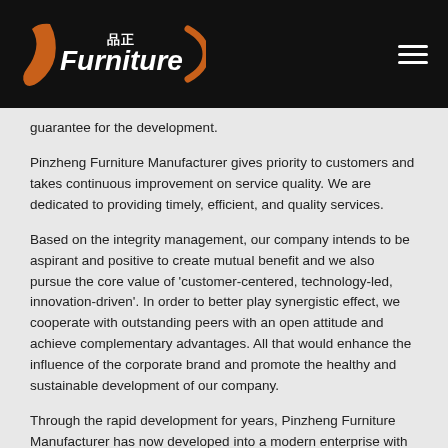品正 Furniture
guarantee for the development.
Pinzheng Furniture Manufacturer gives priority to customers and takes continuous improvement on service quality. We are dedicated to providing timely, efficient, and quality services.
Based on the integrity management, our company intends to be aspirant and positive to create mutual benefit and we also pursue the core value of 'customer-centered, technology-led, innovation-driven'. In order to better play synergistic effect, we cooperate with outstanding peers with an open attitude and achieve complementary advantages. All that would enhance the influence of the corporate brand and promote the healthy and sustainable development of our company.
Through the rapid development for years, Pinzheng Furniture Manufacturer has now developed into a modern enterprise with the scientific management system and superb processing technology.